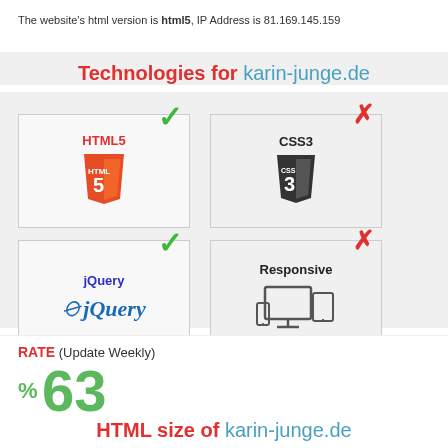The website's html version is html5, IP Address is 81.169.145.159
Technologies for karin-junge.de
[Figure (infographic): Four technology cards in a 2x2 grid: HTML5 (green checkmark, HTML5 shield logo), CSS3 (red X, CSS3 shield logo), jQuery (green checkmark, jQuery logo), Responsive (red X, responsive devices icon). HTML5 and jQuery have green checkmarks; CSS3 and Responsive have red X marks.]
RATE (Update Weekly)
% 63
HTML size of karin-junge.de